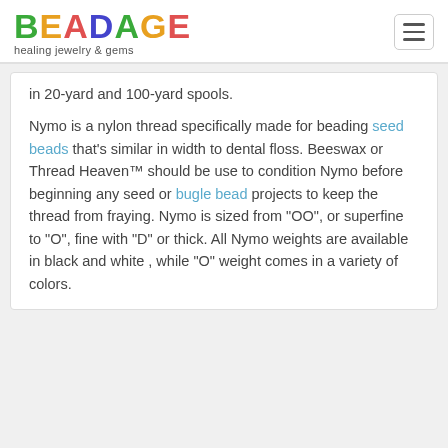BEADAGE healing jewelry & gems
in 20-yard and 100-yard spools.
Nymo is a nylon thread specifically made for beading seed beads that's similar in width to dental floss. Beeswax or Thread Heaven™ should be use to condition Nymo before beginning any seed or bugle bead projects to keep the thread from fraying. Nymo is sized from “OO”, or superfine to “O”, fine with “D” or thick. All Nymo weights are available in black and white , while “O” weight comes in a variety of colors.